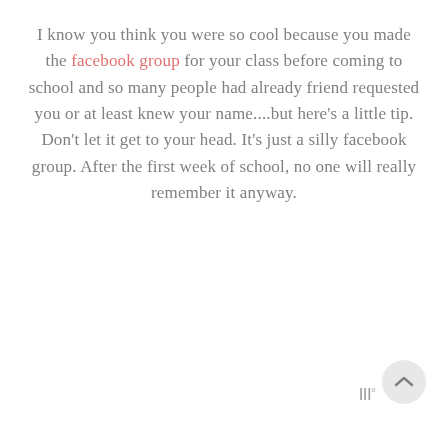I know you think you were so cool because you made the facebook group for your class before coming to school and so many people had already friend requested you or at least knew your name....but here's a little tip. Don't let it get to your head. It's just a silly facebook group. After the first week of school, no one will really remember it anyway.